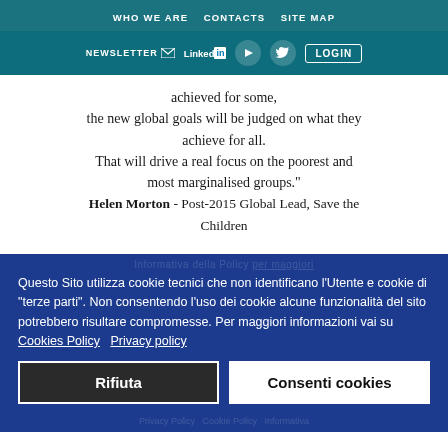WHO WE ARE   CONTACTS   SITE MAP
NEWSLETTER   LinkedIn   [YouTube]   [Twitter]   LOGIN
achieved for some, the new global goals will be judged on what they achieve for all. That will drive a real focus on the poorest and most marginalised groups." Helen Morton - Post-2015 Global Lead, Save the Children
Questo Sito utilizza cookie tecnici che non identificano l'Utente e cookie di "terze parti". Non consentendo l'uso dei cookie alcune funzionalità del sito potrebbero risultare compromesse. Per maggiori informazioni vai su Cookies Policy   Privacy policy
Rifiuta   Consenti cookies